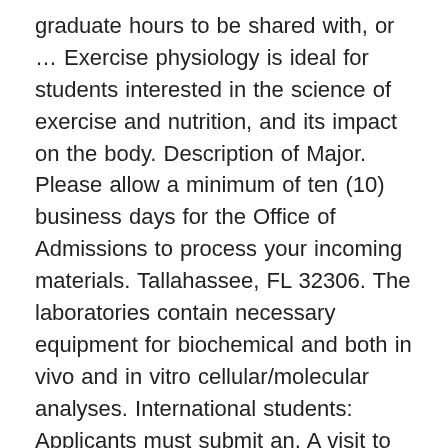graduate hours to be shared with, or … Exercise physiology is ideal for students interested in the science of exercise and nutrition, and its impact on the body. Description of Major. Please allow a minimum of ten (10) business days for the Office of Admissions to process your incoming materials. Tallahassee, FL 32306. The laboratories contain necessary equipment for biochemical and both in vivo and in vitro cellular/molecular analyses. International students: Applicants must submit an, A visit to the department is strongly encouraged. Resources for the Exercise Physiology program include applied electrophysiology physiology laboratories, cardiovascular laboratories, skeletal muscle laboratories, and the Institute of Sports Sciences and Medicine (ISSM). Once you have submitted your application; TOEFL test scores